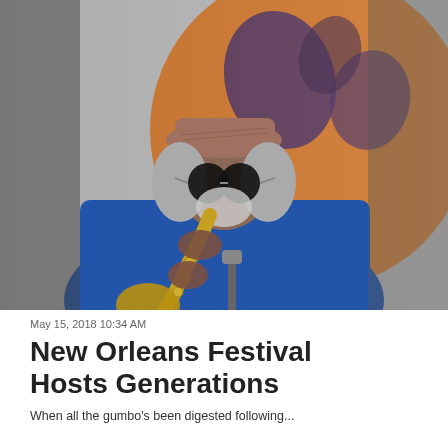[Figure (photo): An elderly man with gray hair wearing a plaid flat cap and round dark sunglasses plays a saxophone. He is wearing a blue shirt. The background shows a large orange circle (likely a stage backdrop) with dark purple decorative elements.]
May 15, 2018 10:34 AM
New Orleans Festival Hosts Generations
When all the gumbo's been digested following...